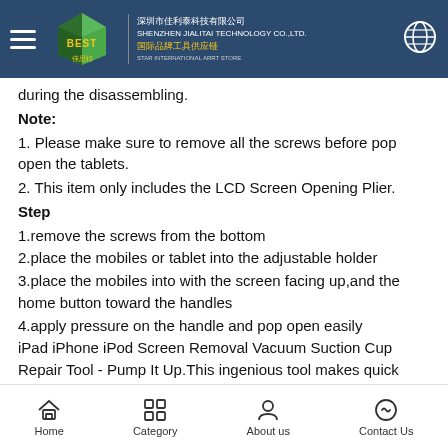BEST — Shenzhen Jialitai Technology Co., Ltd. International Brand Tool Supplier
during the disassembling.
Note:
1. Please make sure to remove all the screws before pop open the tablets.
2. This item only includes the LCD Screen Opening Plier.
Step
1.remove the screws from the bottom
2.place the mobiles or tablet into the adjustable holder
3.place the mobiles into with the screen facing up,and the home button toward the handles
4.apply pressure on the handle and pop open easily
iPad iPhone iPod Screen Removal Vacuum Suction Cup Repair Tool - Pump It Up.This ingenious tool makes quick work for dismantling the iPhone 3G or 3GS 4G,iPad etc. It's quick action allows removal of iPhone touch screen in seconds.Can also be used on other phones too for lens repair etc. To assure the safety
Home  Category  About us  Contact Us